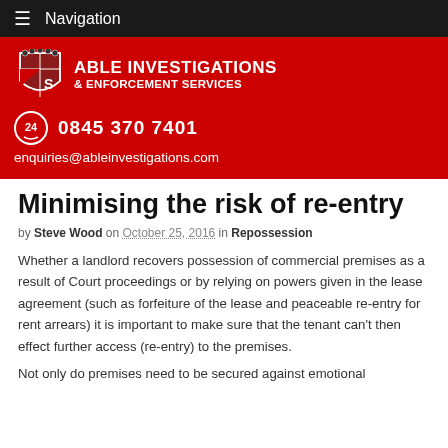Navigation
[Figure (logo): Able Investigations & Enforcement Services logo with shield/crest icon, phone number 0845 370 7401, and email enquiries@ableinvestigations.com on red background]
Minimising the risk of re-entry
by Steve Wood on October 25, 2016 in Repossession
Whether a landlord recovers possession of commercial premises as a result of Court proceedings or by relying on powers given in the lease agreement (such as forfeiture of the lease and peaceable re-entry for rent arrears) it is important to make sure that the tenant can't then effect further access (re-entry) to the premises.
Not only do premises need to be secured against emotional